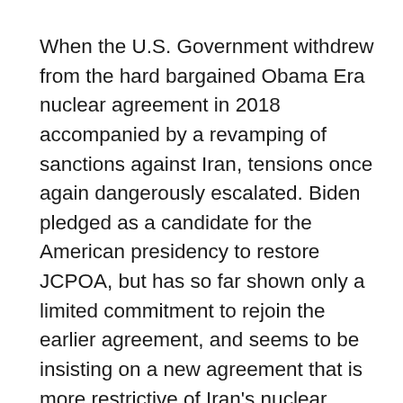When the U.S. Government withdrew from the hard bargained Obama Era nuclear agreement in 2018 accompanied by a revamping of sanctions against Iran, tensions once again dangerously escalated. Biden pledged as a candidate for the American presidency to restore JCPOA, but has so far shown only a limited commitment to rejoin the earlier agreement, and seems to be insisting on a new agreement that is more restrictive of Iran's nuclear program and even its regional political activity. The U.S. Government seems to forget that it was its actions that led to the breakdown of the agreement, and that Iran continued to comply for an entire year before embarking upon a more ambitious program of nuclear enrichment, accumulating three tons above the agreed limits, ten times the amount allowed by the lapsed agreement, all in defiance of the international